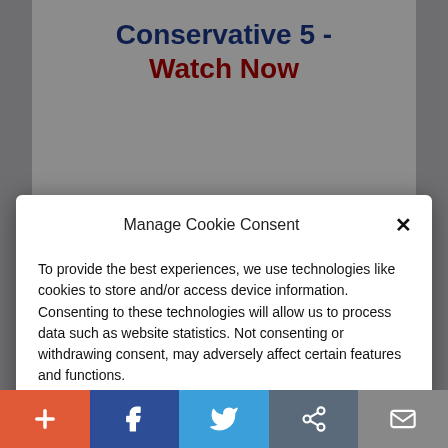Conservative 5 - Watch Now
Manage Cookie Consent
To provide the best experiences, we use technologies like cookies to store and/or access device information. Consenting to these technologies will allow us to process data such as website statistics. Not consenting or withdrawing consent, may adversely affect certain features and functions.
Accept
Cookie Policy  Privacy Policy
[Figure (screenshot): Bottom social sharing bar with plus, Facebook, Twitter, share, and email buttons]
[Figure (photo): Partial photo of a gold circular object and large letter N on dark background]